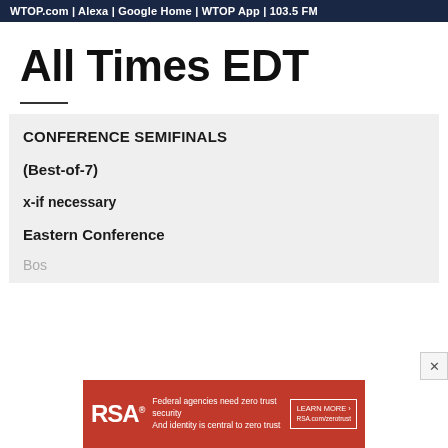WTOP.com | Alexa | Google Home | WTOP App | 103.5 FM
All Times EDT
CONFERENCE SEMIFINALS
(Best-of-7)
x-if necessary
Eastern Conference
Bos...
[Figure (other): RSA advertisement banner: Federal agencies need zero trust security And identity is central to zero trust. LEARN MORE. RSA.com/zerotrust]